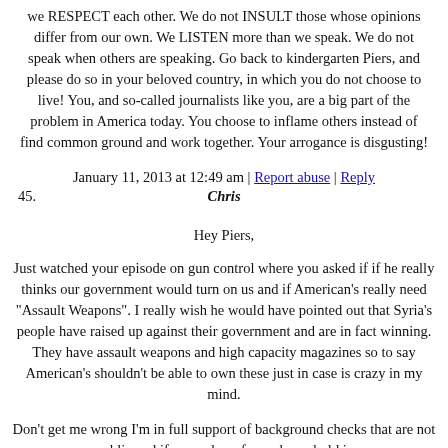we RESPECT each other. We do not INSULT those whose opinions differ from our own. We LISTEN more than we speak. We do not speak when others are speaking. Go back to kindergarten Piers, and please do so in your beloved country, in which you do not choose to live! You, and so-called journalists like you, are a big part of the problem in America today. You choose to inflame others instead of find common ground and work together. Your arrogance is disgusting!
January 11, 2013 at 12:49 am | Report abuse | Reply
45. Chris
Hey Piers,
Just watched your episode on gun control where you asked if if he really thinks our government would turn on us and if American's really need "Assault Weapons". I really wish he would have pointed out that Syria's people have raised up against their government and are in fact winning. They have assault weapons and high capacity magazines so to say American's shouldn't be able to own these just in case is crazy in my mind.
Don't get me wrong I'm in full support of background checks that are not public and if a member of your household is